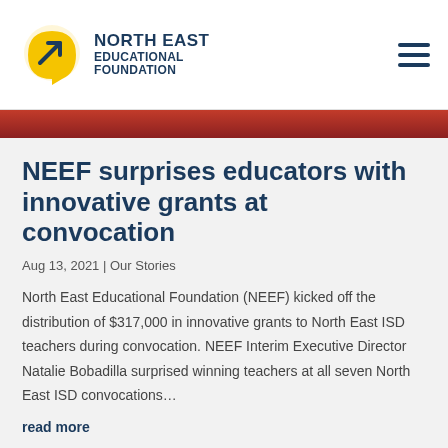NORTH EAST EDUCATIONAL FOUNDATION
NEEF surprises educators with innovative grants at convocation
Aug 13, 2021 | Our Stories
North East Educational Foundation (NEEF) kicked off the distribution of $317,000 in innovative grants to North East ISD teachers during convocation. NEEF Interim Executive Director Natalie Bobadilla surprised winning teachers at all seven North East ISD convocations…
read more